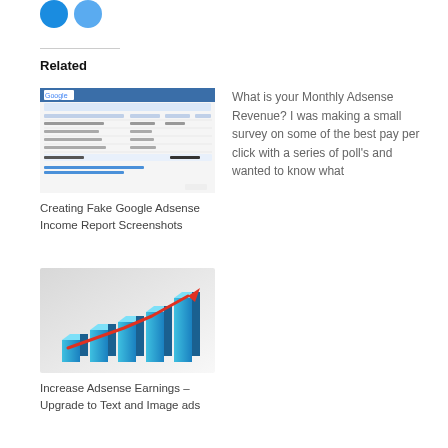[Figure (illustration): Two blue social sharing icon circles at top left]
Related
[Figure (screenshot): Screenshot of a Google Adsense Income Report page showing earnings data in a table format]
Creating Fake Google Adsense Income Report Screenshots
What is your Monthly Adsense Revenue? I was making a small survey on some of the best pay per click with a series of poll's and wanted to know what
[Figure (illustration): 3D bar chart illustration showing increasing blue bars with a red upward arrow trend line overlay on gray background]
Increase Adsense Earnings – Upgrade to Text and Image ads